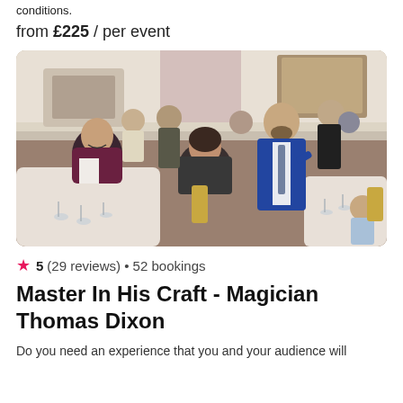conditions.
from £225 / per event
[Figure (photo): A magician in a blue suit performing at a formal dinner event, with guests laughing and clapping around banquet tables in an elegant room.]
★ 5 (29 reviews) • 52 bookings
Master In His Craft - Magician Thomas Dixon
Do you need an experience that you and your audience will